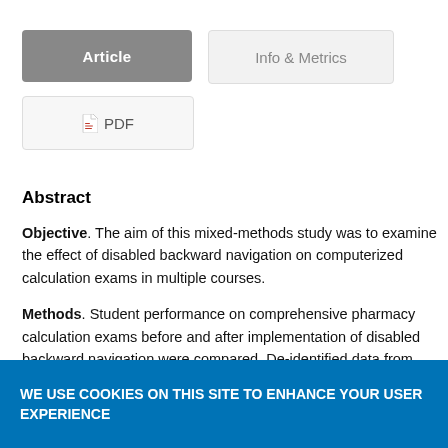[Figure (screenshot): Article tab button (active, gray background with white text)]
[Figure (screenshot): Info & Metrics tab button (inactive, light gray)]
[Figure (screenshot): PDF button with document icon]
Abstract
Objective. The aim of this mixed-methods study was to examine the effect of disabled backward navigation on computerized calculation exams in multiple courses.
Methods. Student performance on comprehensive pharmacy calculation exams before and after implementation of disabled backward navigation were compared. De-identified data from [cut off]
WE USE COOKIES ON THIS SITE TO ENHANCE YOUR USER EXPERIENCE